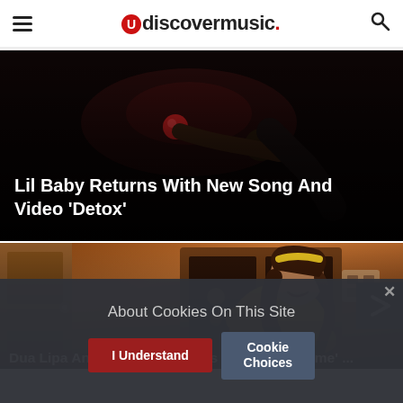udiscovermusic.
[Figure (photo): Dark moody photo with a person holding a red object, background is black — header image for Lil Baby Detox article]
Lil Baby Returns With New Song And Video 'Detox'
[Figure (photo): Photo of a young woman with long brown hair, yellow outfit and headband, smiling and leaning forward in a warm-toned room with wooden furniture]
Dua Lipa And More Join Lizzo's 'About That Time' ...
About Cookies On This Site
I Understand
Cookie Choices